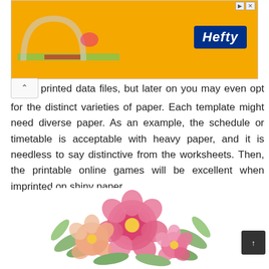[Figure (illustration): Orange Hefty advertisement banner with logo and decorative graphic elements]
printed data files, but later on you may even opt for the distinct varieties of paper. Each template might need diverse paper. As an example, the schedule or timetable is acceptable with heavy paper, and it is needless to say distinctive from the worksheets. Then, the printable online games will be excellent when imprinted on shiny paper.
[Figure (illustration): Watercolor floral illustration featuring pink peonies and roses with green leaves on white background]